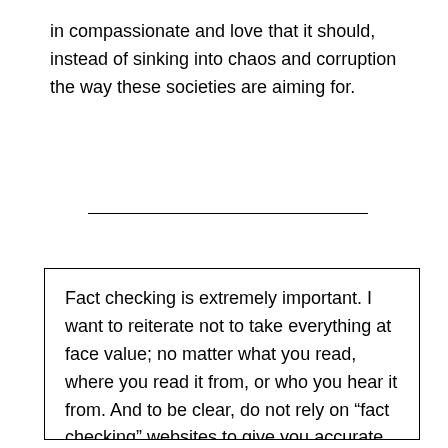in compassionate and love that it should, instead of sinking into chaos and corruption the way these societies are aiming for.
Fact checking is extremely important. I want to reiterate not to take everything at face value; no matter what you read, where you read it from, or who you hear it from. And to be clear, do not rely on “fact checking” websites to give you accurate information either. These are just as likely, (if not even more likely…), to feed false information and false debunking accounts to manipulate the